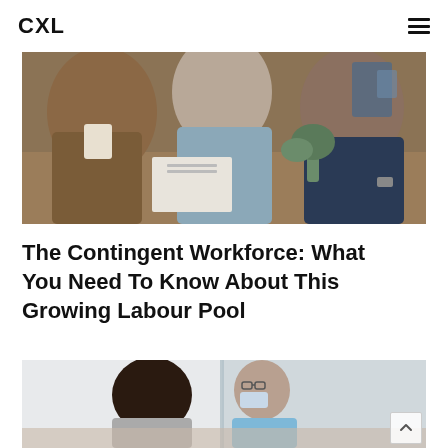CXL
[Figure (photo): Three people sitting at a table in an office setting, appearing to be in a meeting or interview. One person in a brown jacket on the left, a woman in a light blue sweater in the center, and a man in a dark navy shirt on the right.]
The Contingent Workforce: What You Need To Know About This Growing Labour Pool
[Figure (photo): Two people sitting at a table, one wearing a face mask and glasses in a light blue shirt, the other with dark hair facing away. There are colorful sticky notes (orange and pink) on the wall behind them. A glass partition divides the scene.]